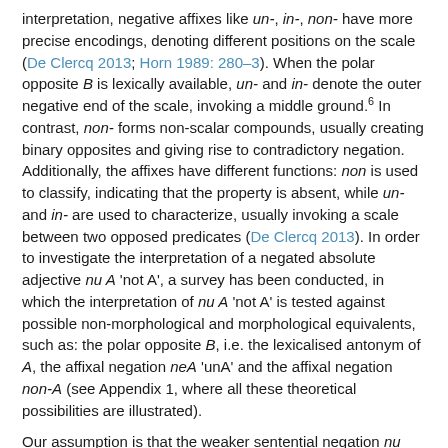interpretation, negative affixes like un-, in-, non- have more precise encodings, denoting different positions on the scale (De Clercq 2013; Horn 1989: 280–3). When the polar opposite B is lexically available, un- and in- denote the outer negative end of the scale, invoking a middle ground.⁶ In contrast, non- forms non-scalar compounds, usually creating binary opposites and giving rise to contradictory negation. Additionally, the affixes have different functions: non is used to classify, indicating that the property is absent, while un- and in- are used to characterize, usually invoking a scale between two opposed predicates (De Clercq 2013). In order to investigate the interpretation of a negated absolute adjective nu A 'not A', a survey has been conducted, in which the interpretation of nu A 'not A' is tested against possible non-morphological and morphological equivalents, such as: the polar opposite B, i.e. the lexicalised antonym of A, the affixal negation neA 'unA' and the affixal negation non-A (see Appendix 1, where all these theoretical possibilities are illustrated).
Our assumption is that the weaker sentential negation nu...